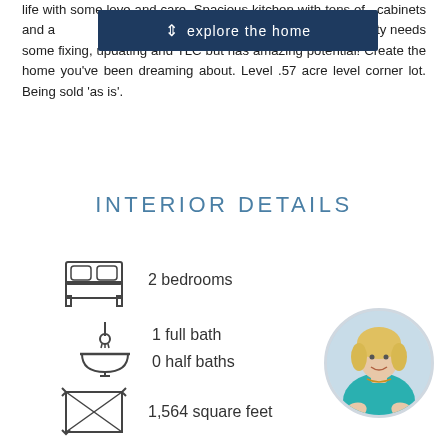life with some love and care. Spacious kitchen with tons of cabinets and a dining room/kitchen combination. Property needs some fixing, updating and TLC but has amazing potential! Create the home you've been dreaming about. Level .57 acre level corner lot. Being sold 'as is'.
INTERIOR DETAILS
2 bedrooms
1 full bath
0 half baths
1,564 square feet
[Figure (photo): Circular headshot photo of a woman with blonde hair wearing a teal blouse, smiling, agent photo]